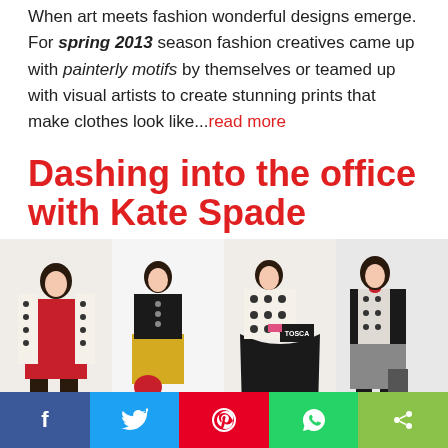When art meets fashion wonderful designs emerge. For spring 2013 season fashion creatives came up with painterly motifs by themselves or teamed up with visual artists to create stunning prints that make clothes look like...read more
Dashing into the office with Kate Spade
[Figure (photo): Kate Spade Fall 2009 fashion lookbook showing four female models wearing various outfits including a red dress with polka dot blouse, black top with yellow skirt, polka dot blouse with black skirt, and black outfit with polka dot blouse]
Facebook Twitter Pinterest WhatsApp Share